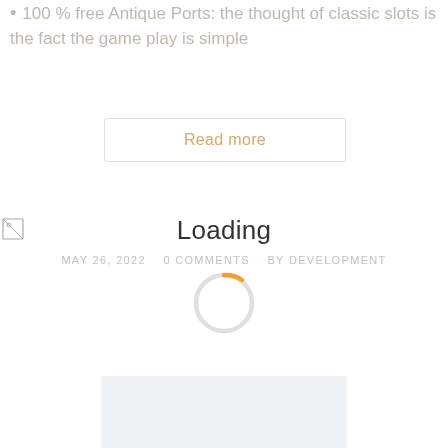100 % free Antique Ports: the thought of classic slots is the fact the game play is simple
Read more
[Figure (other): Broken image icon placeholder (small broken image icon, top-left)]
Loading
MAY 26, 2022   0 COMMENTS   BY DEVELOPMENT
[Figure (other): Loading spinner — circular arc, mostly light gray with an orange segment at top-right]
[Figure (other): Light blue-gray rectangular footer box at the bottom center of the page]